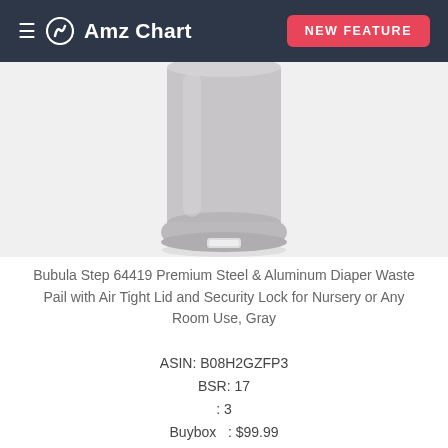AmzChart  NEW FEATURE
[Figure (photo): Gray cylindrical diaper waste pail with a step pedal at the base, shown from the lower half/body only on a light gray background.]
Bubula Step 64419 Premium Steel & Aluminum Diaper Waste Pail with Air Tight Lid and Security Lock for Nursery or Any Room Use, Gray
ASIN: B08H2GZFP3
BSR: 17
: 3
Buybox   : $99.99